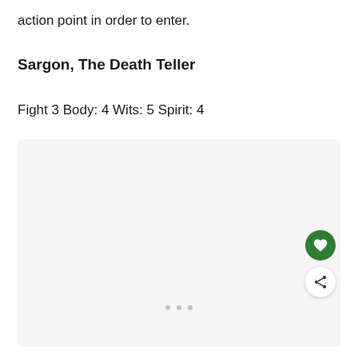action point in order to enter.
Sargon, The Death Teller
Fight 3 Body: 4 Wits: 5 Spirit: 4
[Figure (other): Image placeholder area with grey background, three pagination dots at bottom, a green heart/favorite button and a share button on the right side.]